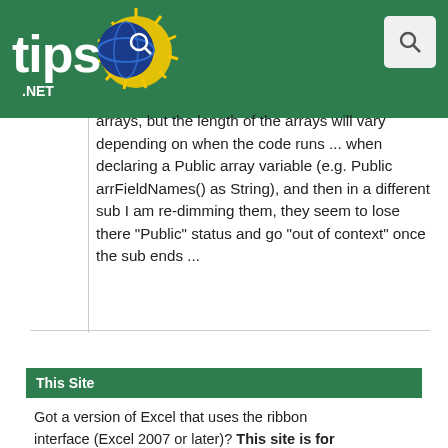tips.NET [website header with logo and search icon]
arrays, but the length of the arrays will vary depending on when the code runs ... when declaring a Public array variable (e.g. Public arrFieldNames() as String), and then in a different sub I am re-dimming them, they seem to lose there "Public" status and go "out of context" once the sub ends ...
This Site
Got a version of Excel that uses the ribbon interface (Excel 2007 or later)? This site is for you! If